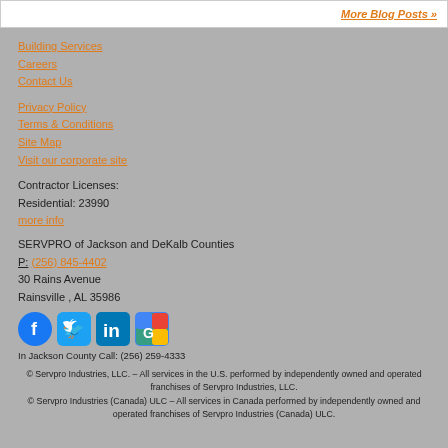More Blog Posts »
Building Services
Careers
Contact Us
Privacy Policy
Terms & Conditions
Site Map
Visit our corporate site
Contractor Licenses:
Residential: 23990
more info
SERVPRO of Jackson and DeKalb Counties
P: (256) 845-4402
30 Rains Avenue
Rainsville , AL 35986
[Figure (logo): Social media icons: Facebook, Twitter, LinkedIn, Google Maps]
In Jackson County Call: (256) 259-4333
© Servpro Industries, LLC. – All services in the U.S. performed by independently owned and operated franchises of Servpro Industries, LLC.
© Servpro Industries (Canada) ULC – All services in Canada performed by independently owned and operated franchises of Servpro Industries (Canada) ULC.